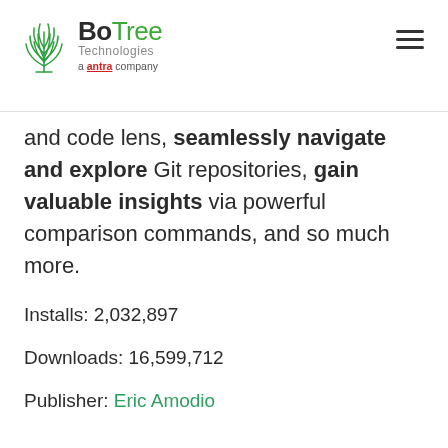BoTree Technologies a antra company
and code lens, seamlessly navigate and explore Git repositories, gain valuable insights via powerful comparison commands, and so much more.
Installs: 2,032,897
Downloads: 16,599,712
Publisher: Eric Amodio